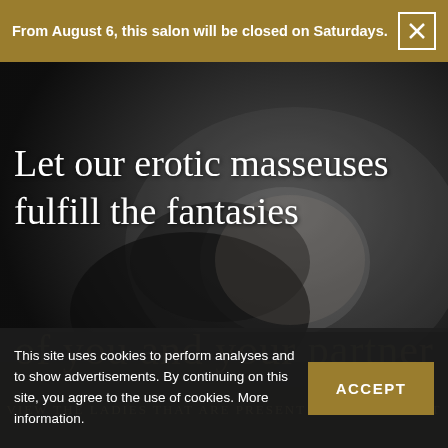From August 6, this salon will be closed on Saturdays.
[Figure (photo): Black and white artistic photo of a reclining woman looking at camera, used as hero background image]
Let our erotic masseuses fulfill the fantasies
of you and your partner
This site uses cookies to perform analyses and to show advertisements. By continuing on this site, you agree to the use of cookies. More information.
ACCEPT
VIEW THE LADIES THAT ARE PRESENT AT THE MOMENT